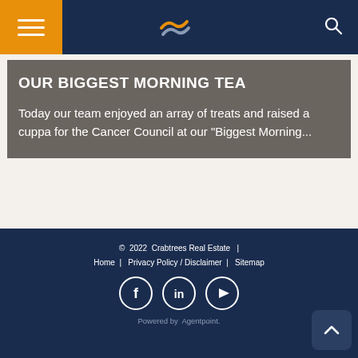[Figure (logo): Navigation bar with hamburger menu (orange background), Crabtrees Real Estate logo (wave icon) in center, and search icon on right, dark navy background]
OUR BIGGEST MORNING TEA
Today our team enjoyed an array of treats and raised a cuppa for the Cancer Council at our "Biggest Morning...
© 2022 Crabtrees Real Estate | Home | Privacy Policy / Disclaimer | Sitemap | Powered by Agentpoint.